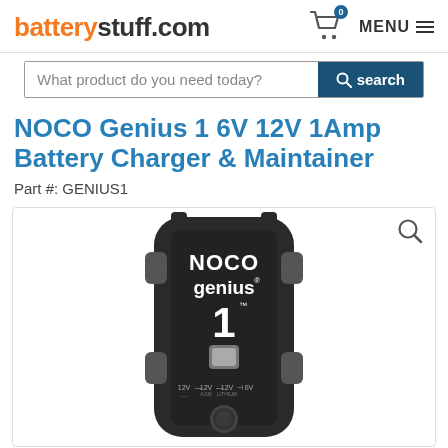batterystuff.com  MENU
What product do you need today?  search
NOCO Genius 1 6V 12V 1Amp Battery Charger & Maintainer
Part #: GENIUS1
[Figure (photo): NOCO Genius 1 battery charger device, black color, showing front face with NOCO genius 1 branding, mode indicators (12V AGM, 12V LITHIUM, 12V, 6V), and a circular button at the bottom.]